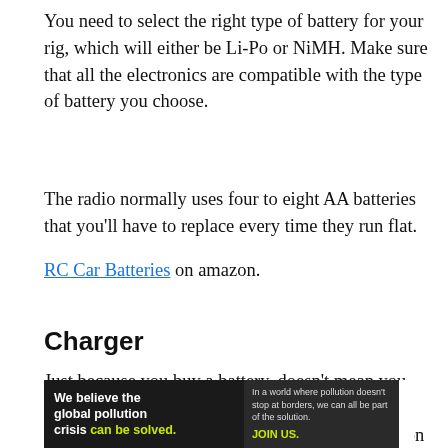You need to select the right type of battery for your rig, which will either be Li-Po or NiMH. Make sure that all the electronics are compatible with the type of battery you choose.
The radio normally uses four to eight AA batteries that you'll have to replace every time they run flat.
RC Car Batteries on amazon.
Charger
Just because you buy a battery, doesn't mean you get a charger with it. You'll need a charger for the type of battery you chose for the car. Depending on the
[Figure (infographic): Pure Earth advertisement banner with dark background. Left section reads 'We believe the global pollution crisis can be solved.' in white and yellow-green text. Middle section reads 'In a world where pollution doesn't stop at borders, we can all be part of the solution. JOIN US.' Right section shows Pure Earth logo (diamond/chevron shape in gold) and 'PURE EARTH' text in black on white background.]